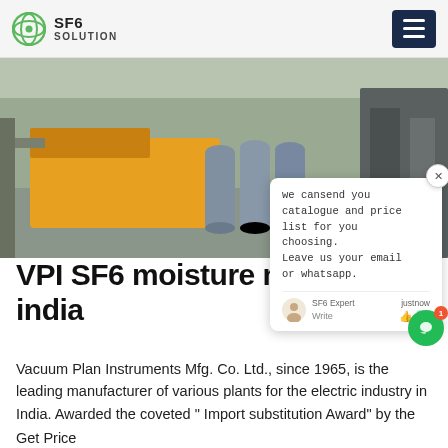SF6 SOLUTION
[Figure (photo): Outdoor industrial scene showing large grey gas cylinders on a truck/transport vehicle near a grey wall and industrial structures]
[Figure (screenshot): Chat popup overlay with message: we cansend you catalogue and price list for you choosing. Leave us your email or whatsapp. SF6 Expert just now. Write icons.]
VPI SF6 moisture me india
Vacuum Plan Instruments Mfg. Co. Ltd., since 1965, is the leading manufacturer of various plants for the electric industry in India. Awarded the coveted " Import substitution Award" by the
Get Price